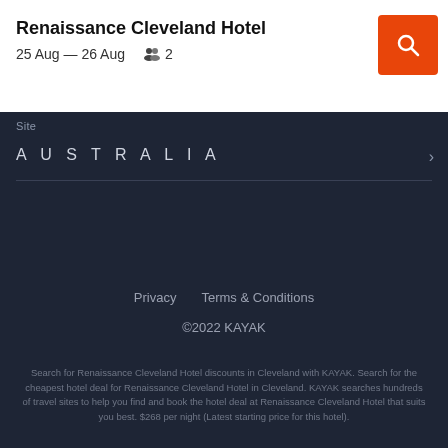Renaissance Cleveland Hotel
25 Aug — 26 Aug  2
Site
AUSTRALIA
Privacy   Terms & Conditions
©2022 KAYAK
Search for Renaissance Cleveland Hotel discounts in Cleveland with KAYAK. Search for the cheapest hotel deal for Renaissance Cleveland Hotel in Cleveland. KAYAK searches hundreds of travel sites to help you find and book the hotel deal at Renaissance Cleveland Hotel that suits you best. $268 per night (Latest starting price for this hotel).